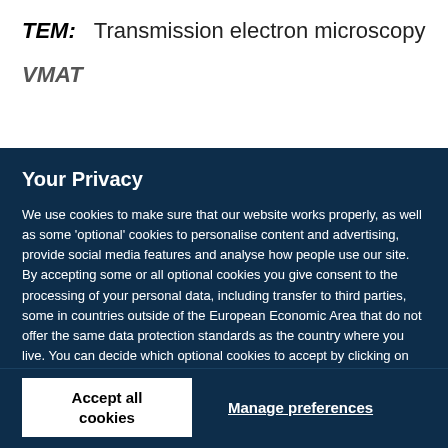TEM:    Transmission electron microscopy
VMAT
Your Privacy
We use cookies to make sure that our website works properly, as well as some ‘optional’ cookies to personalise content and advertising, provide social media features and analyse how people use our site. By accepting some or all optional cookies you give consent to the processing of your personal data, including transfer to third parties, some in countries outside of the European Economic Area that do not offer the same data protection standards as the country where you live. You can decide which optional cookies to accept by clicking on ‘Manage Settings’, where you can also find more information about how your personal data is processed. Further information can be found in our privacy policy.
Accept all cookies
Manage preferences